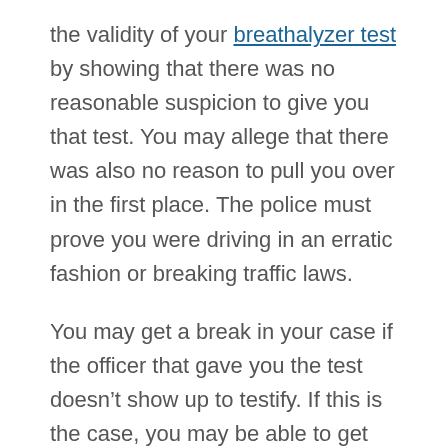the validity of your breathalyzer test by showing that there was no reasonable suspicion to give you that test. You may allege that there was also no reason to pull you over in the first place. The police must prove you were driving in an erratic fashion or breaking traffic laws.
You may get a break in your case if the officer that gave you the test doesn't show up to testify. If this is the case, you may be able to get your charges dismissed. At the very least, you may get the breathalyzer testimony to be thrown out.